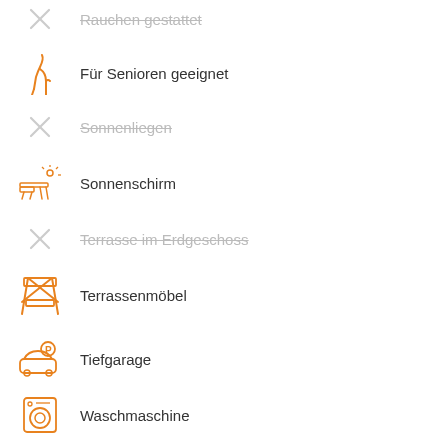Rauchen gestattet (disabled)
Für Senioren geeignet
Sonnenliegen (disabled)
Sonnenschirm
Terrasse im Erdgeschoss (disabled)
Terrassenmöbel
Tiefgarage
Waschmaschine
Wellness (disabled)
WLAN verfügbar
Rollstuhlgerecht (disabled)